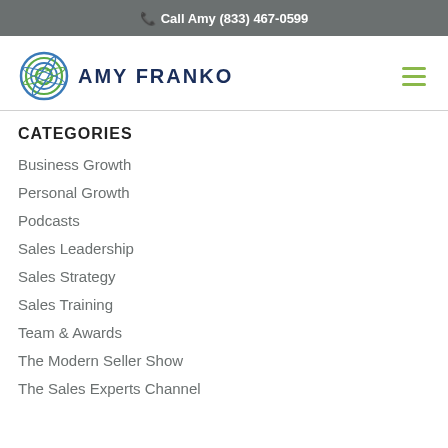Call Amy (833) 467-0599
[Figure (logo): Amy Franko circular logo with green and blue concentric rings, followed by text AMY FRANKO in dark navy bold letters]
CATEGORIES
Business Growth
Personal Growth
Podcasts
Sales Leadership
Sales Strategy
Sales Training
Team & Awards
The Modern Seller Show
The Sales Experts Channel